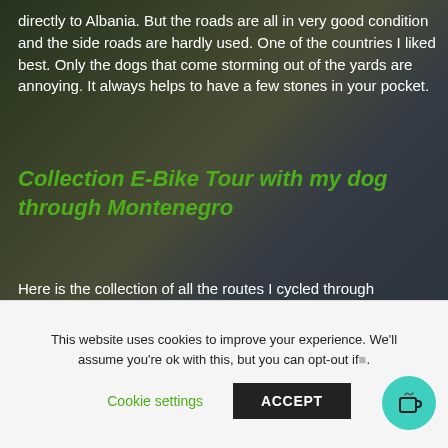directly to Albania. But the roads are all in very good condition and the side roads are hardly used. One of the countries I liked best. Only the dogs that come storming out of the yards are annoying. It always helps to have a few stones in your pocket.
Collection E-Bike Tour with my dog through Montenegro
Here is the collection of all the routes I cycled through Montenegro with my e-bike and my dog Zuri in 2019.
[Figure (other): Komoot widget card partially visible at bottom of page]
This website uses cookies to improve your experience. We'll assume you're ok with this, but you can opt-out if
Cookie settings    ACCEPT